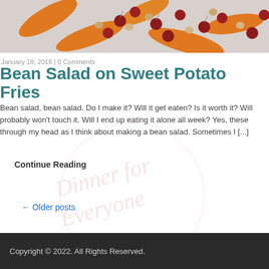[Figure (photo): Food photo showing a bean salad with red beans, chickpeas, and orange sweet potato chips on a white background]
January 18, 2016 | 0 Comments
Bean Salad on Sweet Potato Fries
Bean salad, bean salad. Do I make it? Will it get eaten? Is it worth it? Will probably won't touch it. Will I end up eating it alone all week? Yes, these through my head as I think about making a bean salad. Sometimes I [...]
Continue Reading
← Older posts
Copyright © 2022. All Rights Reserved.